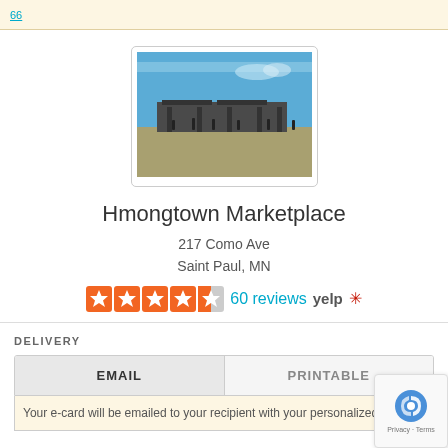[Figure (photo): Outdoor photo of Hmongtown Marketplace showing open-air market structures under a blue sky]
Hmongtown Marketplace
217 Como Ave
Saint Paul, MN
60 reviews  yelp
DELIVERY
EMAIL
PRINTABLE
Your e-card will be emailed to your recipient with your personalized